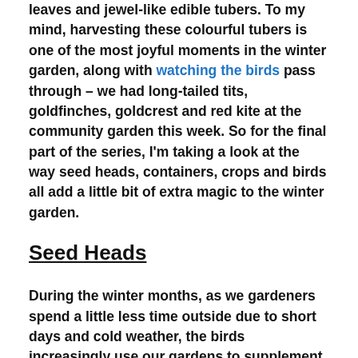leaves and jewel-like edible tubers. To my mind, harvesting these colourful tubers is one of the most joyful moments in the winter garden, along with watching the birds pass through – we had long-tailed tits, goldfinches, goldcrest and red kite at the community garden this week. So for the final part of the series, I'm taking a look at the way seed heads, containers, crops and birds all add a little bit of extra magic to the winter garden.
Seed Heads
During the winter months, as we gardeners spend a little less time outside due to short days and cold weather, the birds increasingly use our gardens to supplement their winter diets. The berries on my